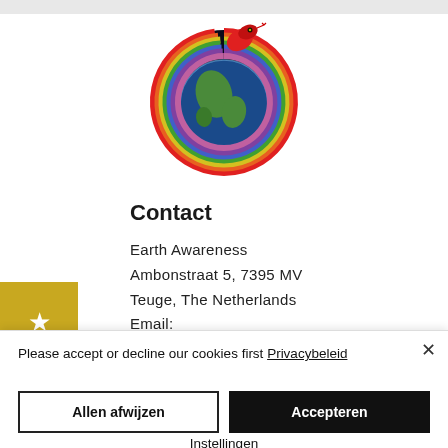[Figure (logo): Circular ouroboros snake logo with rainbow coloring surrounding a globe (Earth) with dark space background — the snake bites its own tail forming a circle around the planet]
Contact
Earth Awareness
Ambonstraat 5, 7395 MV
Teuge, The Netherlands
Email:
[Figure (other): Gold/yellow square badge with a white star icon]
Please accept or decline our cookies first Privacybeleid
Allen afwijzen
Accepteren
Instellingen